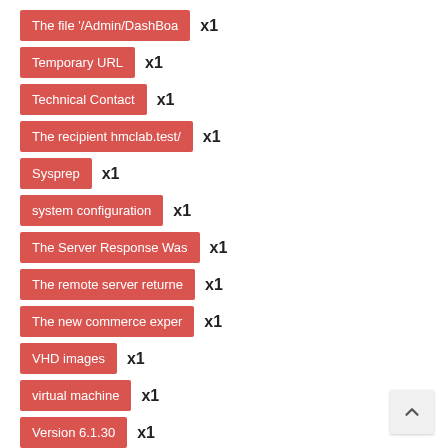The file '/Admin/DashBoa x1
Temporary URL x1
Technical Contact x1
The recipient hmclab.test/ x1
Sysprep x1
system configuration x1
The Server Response Was x1
The remote server returne x1
The new commerce exper x1
VHD images x1
virtual machine x1
Version 6.1.30 x1
x1